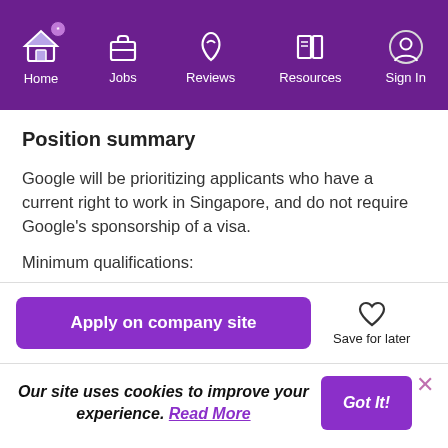Home | Jobs | Reviews | Resources | Sign In
Position summary
Google will be prioritizing applicants who have a current right to work in Singapore, and do not require Google's sponsorship of a visa.
Minimum qualifications:
Apply on company site
Save for later
Our site uses cookies to improve your experience. Read More
Got It!